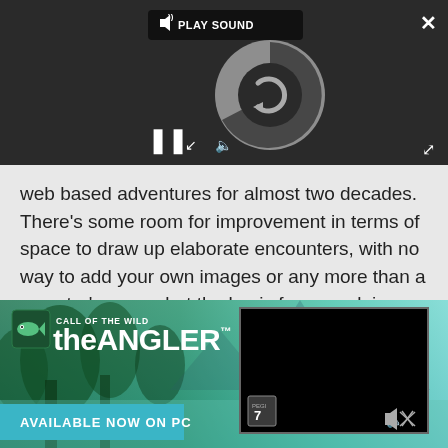[Figure (screenshot): Video/audio player interface with dark background, showing a loading spinner circle, PLAY SOUND button, pause controls, speaker icon, close (X) button, and expand button]
web based adventures for almost two decades. There's some room for improvement in terms of space to draw up elaborate encounters, with no way to add your own images or any more than a monster's name, but the basic framework is there and I've personally had nothing but positive experiences with it.
[Figure (infographic): Advertisement banner for 'Call of the Wild: theANGLER' game. Shows game logo on left with fish icon, 'AVAILABLE NOW ON PC' button below, and a black video thumbnail on the right with PEGI 7 rating and speaker icon.]